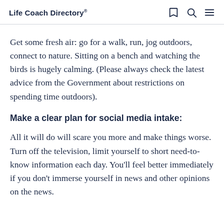Life Coach Directory*
Get some fresh air: go for a walk, run, jog outdoors, connect to nature. Sitting on a bench and watching the birds is hugely calming. (Please always check the latest advice from the Government about restrictions on spending time outdoors).
Make a clear plan for social media intake:
All it will do will scare you more and make things worse. Turn off the television, limit yourself to short need-to-know information each day. You'll feel better immediately if you don't immerse yourself in news and other opinions on the news.